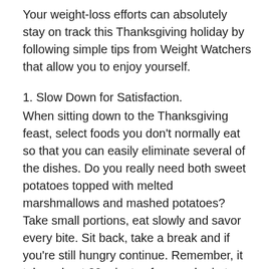Your weight-loss efforts can absolutely stay on track this Thanksgiving holiday by following simple tips from Weight Watchers that allow you to enjoy yourself.
1. Slow Down for Satisfaction.
When sitting down to the Thanksgiving feast, select foods you don't normally eat so that you can easily eliminate several of the dishes. Do you really need both sweet potatoes topped with melted marshmallows and mashed potatoes? Take small portions, eat slowly and savor every bite. Sit back, take a break and if you're still hungry continue. Remember, it takes about 20 minutes for your brain to realize your stomach is full.